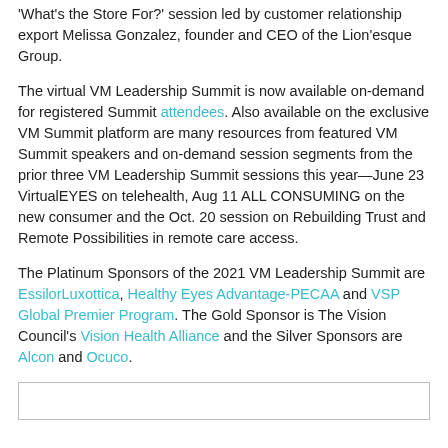'What's the Store For?' session led by customer relationship export Melissa Gonzalez, founder and CEO of the Lion'esque Group.
The virtual VM Leadership Summit is now available on-demand for registered Summit attendees. Also available on the exclusive VM Summit platform are many resources from featured VM Summit speakers and on-demand session segments from the prior three VM Leadership Summit sessions this year—June 23 VirtualEYES on telehealth, Aug 11 ALL CONSUMING on the new consumer and the Oct. 20 session on Rebuilding Trust and Remote Possibilities in remote care access.
The Platinum Sponsors of the 2021 VM Leadership Summit are EssilorLuxottica, Healthy Eyes Advantage-PECAA and VSP Global Premier Program. The Gold Sponsor is The Vision Council's Vision Health Alliance and the Silver Sponsors are Alcon and Ocuco.